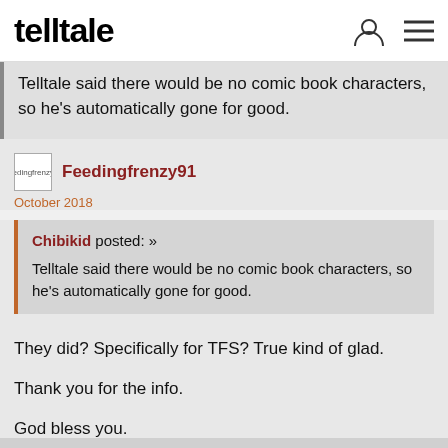telltale
Telltale said there would be no comic book characters, so he's automatically gone for good.
Feedingfrenzy91
October 2018
Chibikid posted: »
Telltale said there would be no comic book characters, so he's automatically gone for good.
They did? Specifically for TFS? True kind of glad.

Thank you for the info.

God bless you.